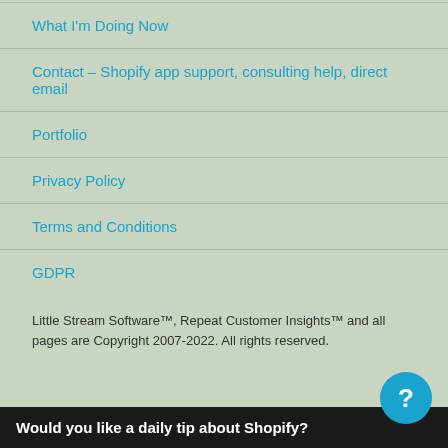What I'm Doing Now
Contact – Shopify app support, consulting help, direct email
Portfolio
Privacy Policy
Terms and Conditions
GDPR
Little Stream Software™, Repeat Customer Insights™ and all pages are Copyright 2007-2022. All rights reserved.
Would you like a daily tip about Shopify?